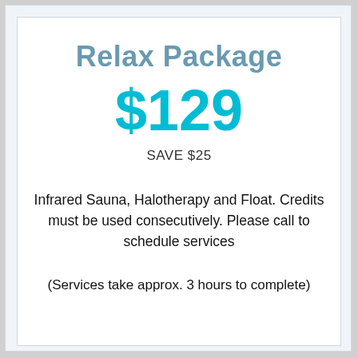Relax Package
$129
SAVE $25
Infrared Sauna, Halotherapy and Float. Credits must be used consecutively. Please call to schedule services
(Services take approx. 3 hours to complete)